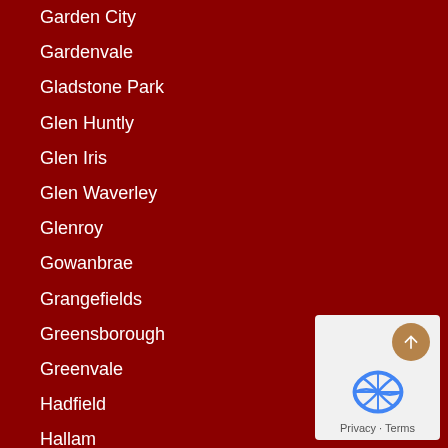Garden City
Gardenvale
Gladstone Park
Glen Huntly
Glen Iris
Glen Waverley
Glenroy
Gowanbrae
Grangefields
Greensborough
Greenvale
Hadfield
Hallam
Hampton East
Hampton Park
Hampton
Harkness
Hastings
Hawthorn East